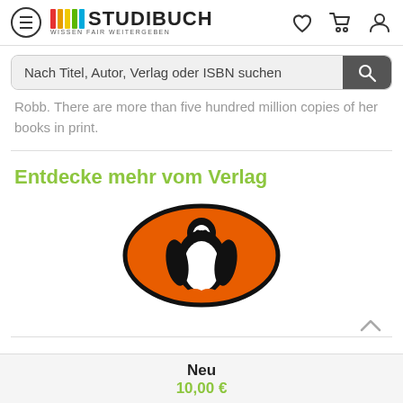[Figure (logo): Studibuch logo with hamburger menu icon, colorful vertical bars, and text STUDIBUCH with tagline WISSEN FAIR WEITERGEBEN, plus heart, cart, and user icons on the right]
[Figure (screenshot): Search bar with placeholder text: Nach Titel, Autor, Verlag oder ISBN suchen, and a dark search button with magnifying glass icon]
Robb. There are more than five hundred million copies of her books in print.
Entdecke mehr vom Verlag
[Figure (logo): Penguin Books publisher logo: black penguin on orange oval background]
Neu
10,00 €